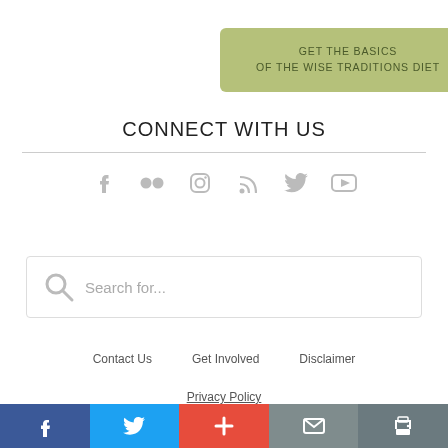[Figure (other): Green button with text GET THE BASICS OF THE WISE TRADITIONS DIET]
CONNECT WITH US
[Figure (other): Social media icons row: Facebook, Flickr, Instagram, RSS, Twitter, YouTube]
[Figure (other): Search box with placeholder text Search for...]
Contact Us   Get Involved   Disclaimer
Privacy Policy
[Figure (other): Bottom share bar with Facebook, Twitter, Plus, Mail, Print icons]